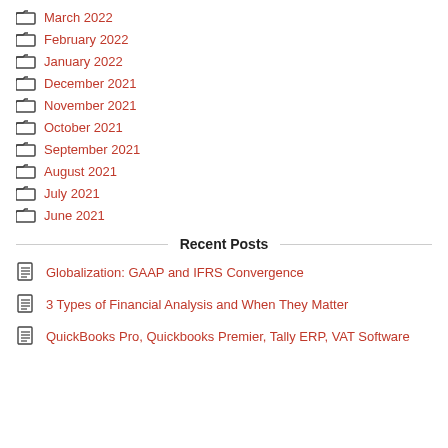March 2022
February 2022
January 2022
December 2021
November 2021
October 2021
September 2021
August 2021
July 2021
June 2021
Recent Posts
Globalization: GAAP and IFRS Convergence
3 Types of Financial Analysis and When They Matter
QuickBooks Pro, Quickbooks Premier, Tally ERP, VAT Software